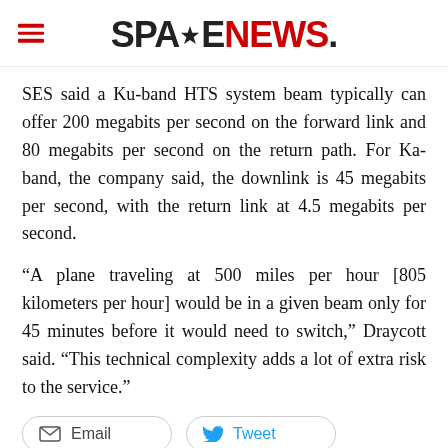SPACENEWS
SES said a Ku-band HTS system beam typically can offer 200 megabits per second on the forward link and 80 megabits per second on the return path. For Ka-band, the company said, the downlink is 45 megabits per second, with the return link at 4.5 megabits per second.
“A plane traveling at 500 miles per hour [805 kilometers per hour] would be in a given beam only for 45 minutes before it would need to switch,” Draycott said. “This technical complexity adds a lot of extra risk to the service.”
Email
Tweet
COMMERCIAL
SATELLITE TELECOM